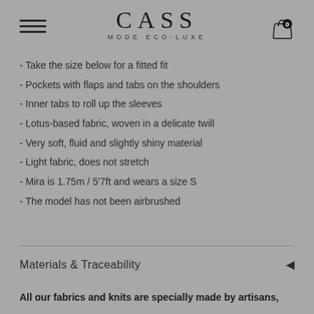CASS MODE ECO-LUXE
- Take the size below for a fitted fit
- Pockets with flaps and tabs on the shoulders
- Inner tabs to roll up the sleeves
- Lotus-based fabric, woven in a delicate twill
- Very soft, fluid and slightly shiny material
- Light fabric, does not stretch
- Mira is 1.75m / 5'7ft and wears a size S
- The model has not been airbrushed
Materials & Traceability
All our fabrics and knits are specially made by artisans,